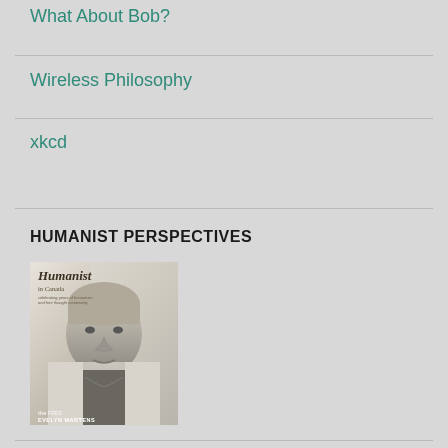What About Bob?
Wireless Philosophy
xkcd
HUMANIST PERSPECTIVES
[Figure (photo): Magazine cover of Humanist Perspectives featuring a black and white portrait of Evelyn Martens]